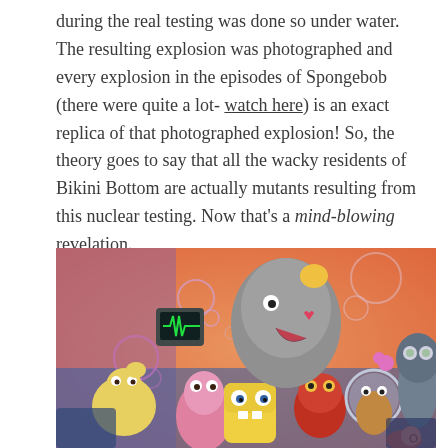during the real testing was done so under water. The resulting explosion was photographed and every explosion in the episodes of Spongebob (there were quite a lot- watch here) is an exact replica of that photographed explosion! So, the theory goes to say that all the wacky residents of Bikini Bottom are actually mutants resulting from this nuclear testing. Now that's a mind-blowing revelation.
[Figure (illustration): Group illustration of SpongeBob SquarePants characters including Mrs. Puff, Patrick Star, SpongeBob, Mr. Krabs, Sandy Cheeks, Squidward, and Gary, set against a colorful underwater background with bubbles.]